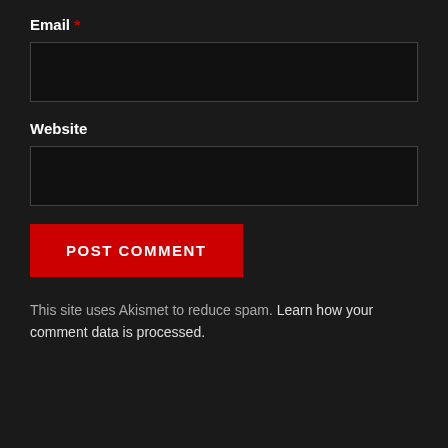Email *
Website
POST COMMENT
This site uses Akismet to reduce spam. Learn how your comment data is processed.